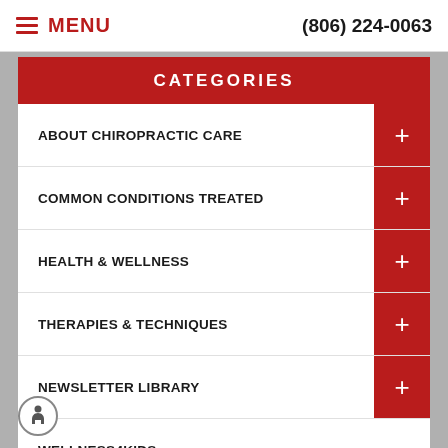MENU  (806) 224-0063
CATEGORIES
ABOUT CHIROPRACTIC CARE
COMMON CONDITIONS TREATED
HEALTH & WELLNESS
THERAPIES & TECHNIQUES
NEWSLETTER LIBRARY
WELLNESS4KIDS